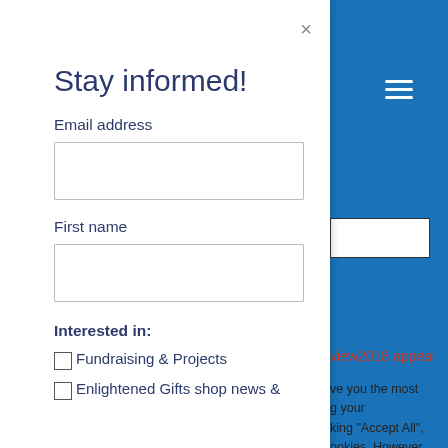[Figure (screenshot): Modal popup newsletter signup form with 'Stay informed!' title, email address and first name fields, and checkboxes for interests. Blue website header visible on the right with hamburger menu icon.]
Stay informed!
Email address
First name
Interested in:
Fundraising & Projects
Enlightened Gifts shop news &